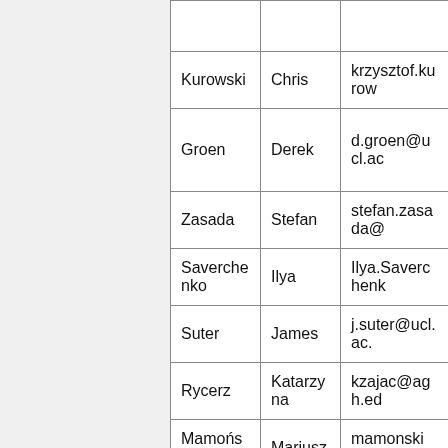| Last Name | First Name | Email |
| --- | --- | --- |
| Kurowski | Chris | krzysztof.kurow… |
| Groen | Derek | d.groen@ucl.ac… |
| Zasada | Stefan | stefan.zasada@… |
| Saverchenko | Ilya | Ilya.Saverченk… |
| Suter | James | j.suter@ucl.ac.… |
| Rycerz | Katarzyna | kzajac@agh.ed… |
| Mamoński | Mariusz | mamonski@ma… |
| Borgdorff | Joris | J.Borgdorff@uv… |
| Brewer | Steve | steve.brewer@… |
| McLennan | Richard | richard.mclenna… |